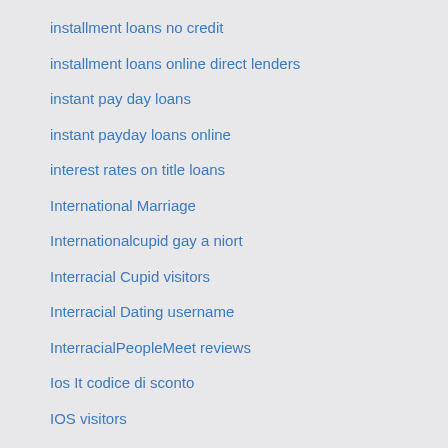installment loans no credit
installment loans online direct lenders
instant pay day loans
instant payday loans online
interest rates on title loans
International Marriage
Internationalcupid gay a niort
Interracial Cupid visitors
Interracial Dating username
InterracialPeopleMeet reviews
Ios It codice di sconto
IOS visitors
Jackd reviews
Japan Cupid review
Jaumo visitors